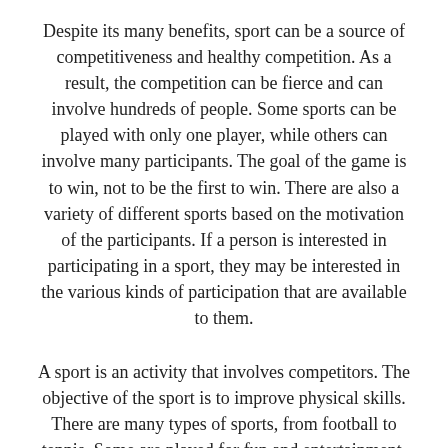Despite its many benefits, sport can be a source of competitiveness and healthy competition. As a result, the competition can be fierce and can involve hundreds of people. Some sports can be played with only one player, while others can involve many participants. The goal of the game is to win, not to be the first to win. There are also a variety of different sports based on the motivation of the participants. If a person is interested in participating in a sport, they may be interested in the various kinds of participation that are available to them.
A sport is an activity that involves competitors. The objective of the sport is to improve physical skills. There are many types of sports, from football to tennis. Some are played for fun and entertainment. Other activities have multiple participants. Often, sport is the result of competition among individuals. S...